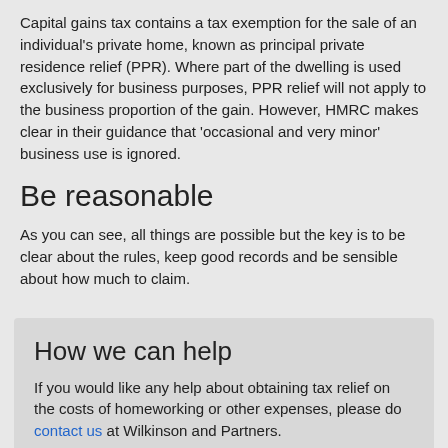Capital gains tax contains a tax exemption for the sale of an individual's private home, known as principal private residence relief (PPR). Where part of the dwelling is used exclusively for business purposes, PPR relief will not apply to the business proportion of the gain. However, HMRC makes clear in their guidance that 'occasional and very minor' business use is ignored.
Be reasonable
As you can see, all things are possible but the key is to be clear about the rules, keep good records and be sensible about how much to claim.
How we can help
If you would like any help about obtaining tax relief on the costs of homeworking or other expenses, please do contact us at Wilkinson and Partners.